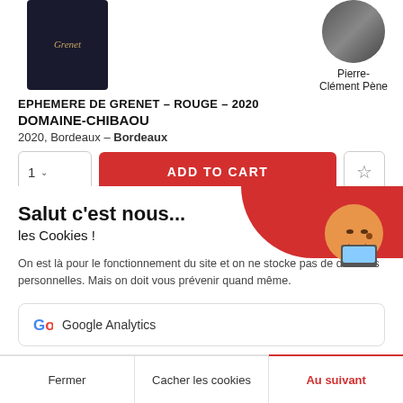[Figure (photo): Wine bottle with dark label showing Grenet brand]
[Figure (photo): Circular profile photo of Pierre-Clément Pène]
Pierre-Clément Pène
EPHEMERE DE GRENET – ROUGE – 2020
DOMAINE-CHIBAOU
2020, Bordeaux – Bordeaux
[Figure (screenshot): Add to cart button with quantity selector 1 and wishlist star]
Salut c'est nous...
les Cookies !
On est là pour le fonctionnement du site et on ne stocke pas de données personnelles. Mais on doit vous prévenir quand même.
Google Analytics
Consentements certifiés par axeptio
Fermer
Cacher les cookies
Au suivant